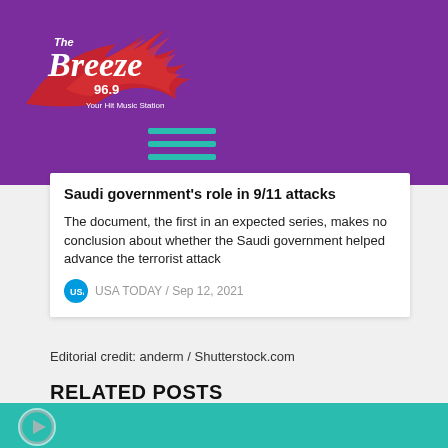The Breeze 96.9 - Your Hit Music Station
[Figure (logo): The Breeze 96.9 Your Hit Music Station radio station logo in white on purple background with red swoosh graphic]
Saudi government's role in 9/11 attacks
The document, the first in an expected series, makes no conclusion about whether the Saudi government helped advance the terrorist attack
USA TODAY / Sep 12, 2021
Editorial credit: anderm / Shutterstock.com
RELATED POSTS
[Figure (photo): Partial view of a tropical scene with palm trees against a blue sky, bottom portion of image visible]